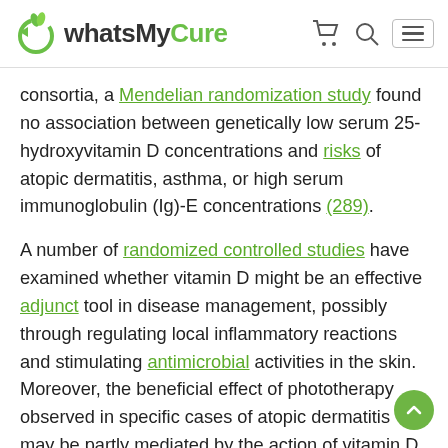whatsMyCure [logo]
consortia, a Mendelian randomization study found no association between genetically low serum 25-hydroxyvitamin D concentrations and risks of atopic dermatitis, asthma, or high serum immunoglobulin (Ig)-E concentrations (289).
A number of randomized controlled studies have examined whether vitamin D might be an effective adjunct tool in disease management, possibly through regulating local inflammatory reactions and stimulating antimicrobial activities in the skin. Moreover, the beneficial effect of phototherapy observed in specific cases of atopic dermatitis may be partly mediated by the action of vitamin D (284). In a small randomized, double-blind, placebo-controlled study in 45 patients with atopic